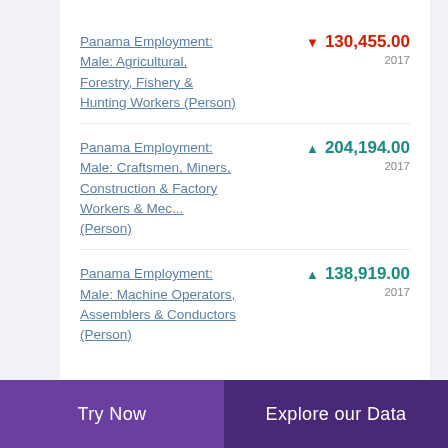Panama Employment: Male: Agricultural, Forestry, Fishery & Hunting Workers (Person) | ▼ 130,455.00 | 2017
Panama Employment: Male: Craftsmen, Miners, Construction & Factory Workers & Mec... (Person) | ▲ 204,194.00 | 2017
Panama Employment: Male: Machine Operators, Assemblers & Conductors (Person) | ▲ 138,919.00 | 2017
Try Now | Explore our Data